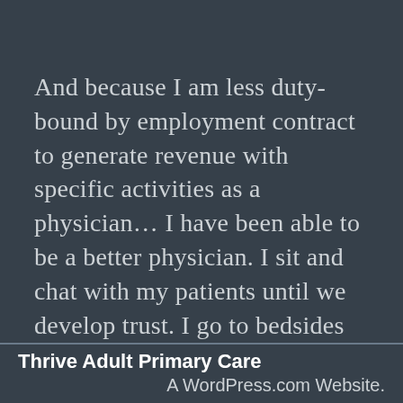And because I am less duty-bound by employment contract to generate revenue with specific activities as a physician… I have been able to be a better physician.  I sit and chat with my patients until we develop trust.  I go to bedsides with a black bag in hand to see people who are too sick to make it to the office to come see me.
I am still responsible for the operational
Thrive Adult Primary Care
A WordPress.com Website.